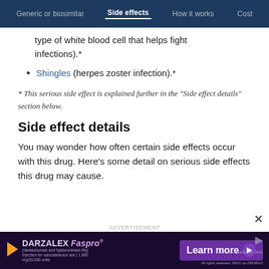Generic or biosimilar | Side effects | How it works | Cost
type of white blood cell that helps fight infections).*
Shingles (herpes zoster infection).*
* This serious side effect is explained further in the “Side effect details” section below.
Side effect details
You may wonder how often certain side effects occur with this drug. Here’s some detail on serious side effects this drug may cause.
[Figure (other): DARZALEX Faspro advertisement banner with Learn more button]